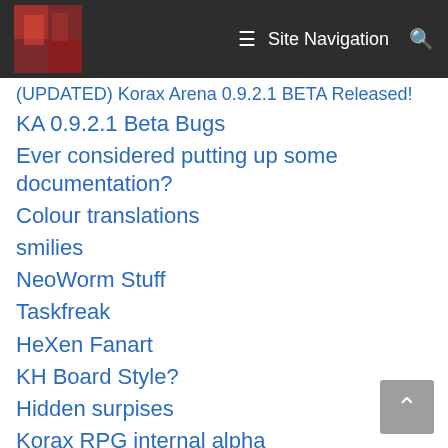Site Navigation
(UPDATED) Korax Arena 0.9.2.1 BETA Released!
KA 0.9.2.1 Beta Bugs
Ever considered putting up some documentation?
Colour translations
smilies
NeoWorm Stuff
Taskfreak
HeXen Fanart
KH Board Style?
Hidden surpises
Korax RPG internal alpha
DOS ports
hmm
KH theme song
Possible way to simulate sky light (and more)